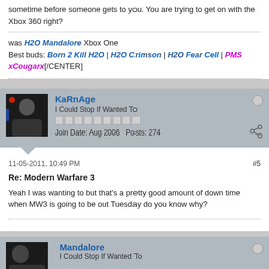sometime before someone gets to you. You are trying to get on with the Xbox 360 right?
was H2O Mandalore Xbox One
Best buds: Born 2 Kill H2O | H2O Crimson | H2O Fear Cell | PMS xCougarx[/CENTER]
KaRnAge
I Could Stop If Wanted To
Join Date: Aug 2006   Posts: 274
11-05-2011, 10:49 PM
#5
Re: Modern Warfare 3
Yeah I was wanting to but that's a pretty good amount of down time when MW3 is going to be out Tuesday do you know why?
Mandalore
I Could Stop If Wanted To